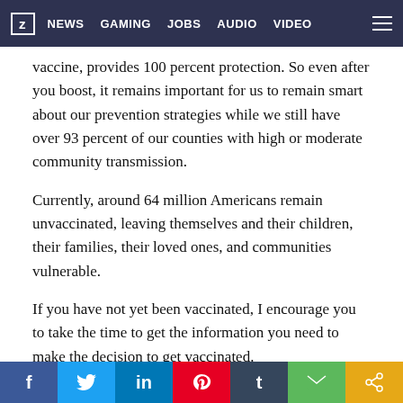Z | NEWS | GAMING | JOBS | AUDIO | VIDEO
vaccine, provides 100 percent protection. So even after you boost, it remains important for us to remain smart about our prevention strategies while we still have over 93 percent of our counties with high or moderate community transmission.
Currently, around 64 million Americans remain unvaccinated, leaving themselves and their children, their families, their loved ones, and communities vulnerable.
If you have not yet been vaccinated, I encourage you to take the time to get the information you need to make the decision to get vaccinated.
Thank you. I'll now turn things over to Dr. Fauci.
f | Twitter | in | Pinterest | t | Email | Share